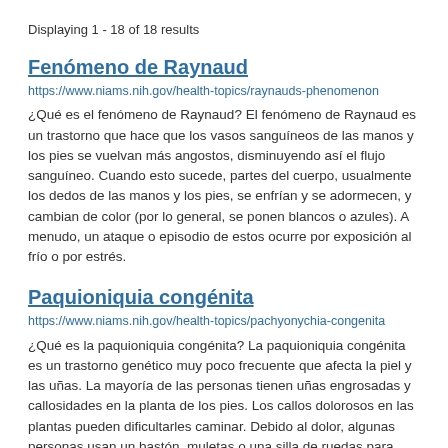Displaying 1 - 18 of 18 results
Fenómeno de Raynaud
https://www.niams.nih.gov/health-topics/raynauds-phenomenon
¿Qué es el fenómeno de Raynaud? El fenómeno de Raynaud es un trastorno que hace que los vasos sanguíneos de las manos y los pies se vuelvan más angostos, disminuyendo así el flujo sanguíneo. Cuando esto sucede, partes del cuerpo, usualmente los dedos de las manos y los pies, se enfrían y se adormecen, y cambian de color (por lo general, se ponen blancos o azules). A menudo, un ataque o episodio de estos ocurre por exposición al frío o por estrés.
Paquioniquia congénita
https://www.niams.nih.gov/health-topics/pachyonychia-congenita
¿Qué es la paquioniquia congénita? La paquioniquia congénita es un trastorno genético muy poco frecuente que afecta la piel y las uñas. La mayoría de las personas tienen uñas engrosadas y callosidades en la planta de los pies. Los callos dolorosos en las plantas pueden dificultarles caminar. Debido al dolor, algunas personas usan un bastón, muletas o una silla de ruedas para ayudarles a caminar.